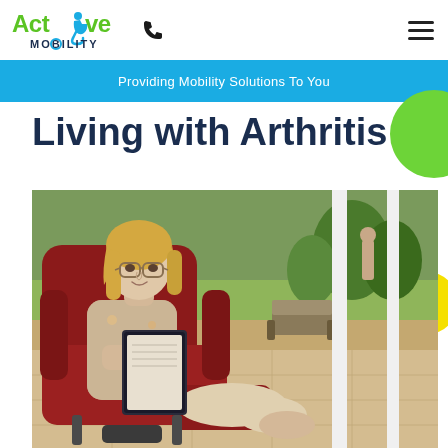[Figure (logo): Active Mobility logo in green and blue]
Providing Mobility Solutions To You
Living with Arthritis
[Figure (photo): Woman with blonde hair and glasses sitting in a red recliner chair reading a book, with a view of a garden patio through large glass doors in the background]